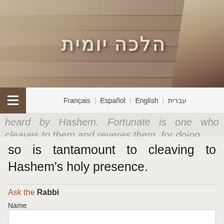[Figure (photo): Website header banner showing the Western Wall stone background with a rabbi figure on the right and Hebrew title 'הלכה יומית' in stylized text]
עברית | English | Español | Français
heard by Hashem. Fortunate is one who cleaves to them and reveres them, for doing so is tantamount to cleaving to Hashem's holy presence.
Ask the Rabbi
Name
Email address